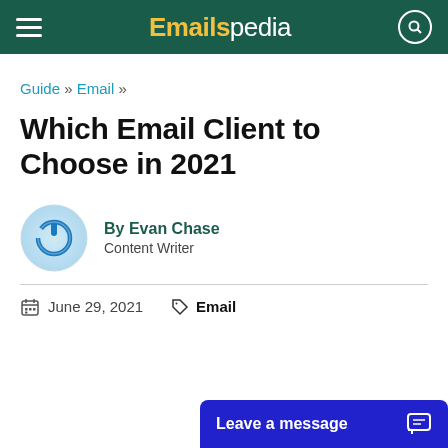Emailspedia
Guide » Email »
Which Email Client to Choose in 2021
By Evan Chase
Content Writer
June 29, 2021   Email
Leave a message